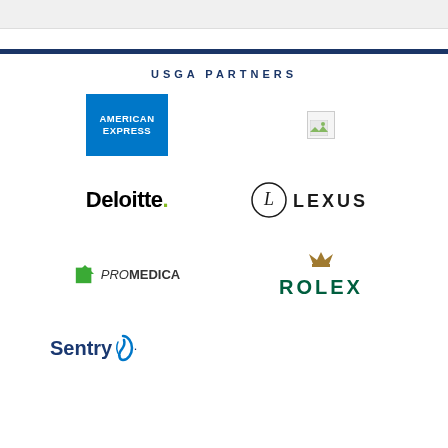USGA PARTNERS
[Figure (logo): American Express logo - blue square with AMERICAN EXPRESS text in white]
[Figure (logo): Placeholder image (broken image icon)]
[Figure (logo): Deloitte logo - black bold text with green dot]
[Figure (logo): Lexus logo - oval with L symbol and LEXUS text]
[Figure (logo): ProMedica logo - green triangle arrow with ProMedica text]
[Figure (logo): Rolex logo - crown symbol in gold above ROLEX text in dark green]
[Figure (logo): Sentry logo - dark blue Sentry text with blue swirl]